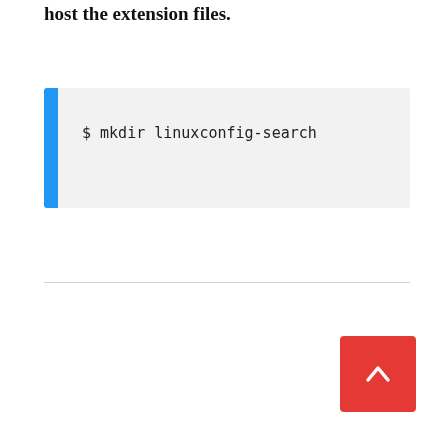host the extension files.
$ mkdir linuxconfig-search